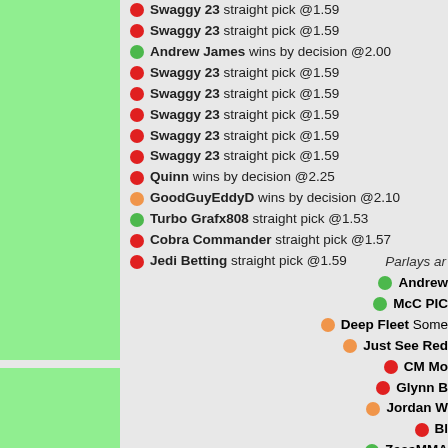Swaggy 23 straight pick @1.59
Andrew James wins by decision @2.00
Swaggy 23 straight pick @1.59
Swaggy 23 straight pick @1.59
Swaggy 23 straight pick @1.59
Swaggy 23 straight pick @1.59
Swaggy 23 straight pick @1.59
Quinn wins by decision @2.25
GoodGuyEddyD wins by decision @2.10
Turbo Grafx808 straight pick @1.53
Cobra Commander straight pick @1.57
Jedi Betting straight pick @1.59
Parlays ar...
Andrew...
McC PIC...
Deep Fleet Some...
Just See Red...
CM Mo...
Glynn B...
Jordan W...
Bl...
ZeesMMA ...
Koss...
The Prophet ...
Luke Vith...
Paul D...
alexei th...
TheyS...